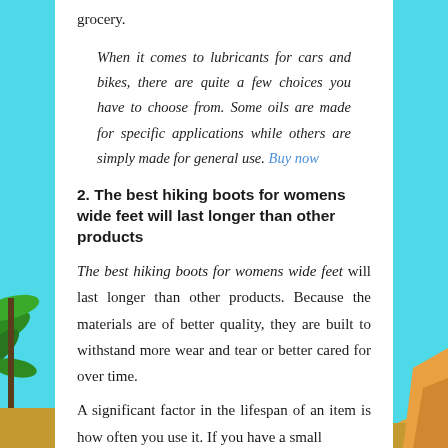grocery.
When it comes to lubricants for cars and bikes, there are quite a few choices you have to choose from. Some oils are made for specific applications while others are simply made for general use. Buy now
2. The best hiking boots for womens wide feet will last longer than other products
The best hiking boots for womens wide feet will last longer than other products. Because the materials are of better quality, they are built to withstand more wear and tear or better cared for over time.
A significant factor in the lifespan of an item is how often you use it. If you have a small